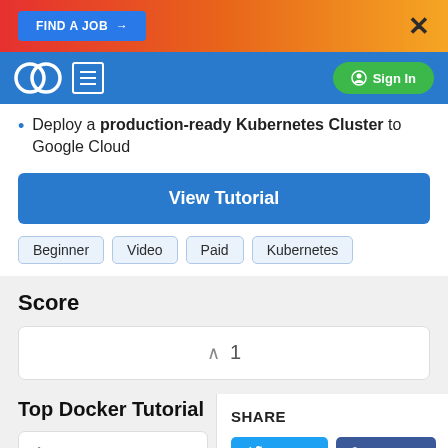[Figure (screenshot): Top banner with gradient background (red to orange), FIND A JOB button on left and X close button on right]
[Figure (screenshot): Navigation bar with Codementor logo, hamburger menu icon, and Sign In button]
Deploy a production-ready Kubernetes Cluster to Google Cloud
View Tutorial
Beginner
Video
Paid
Kubernetes
Score
^ 1
Top Docker Tutorial
SHARE
Twitter
Facebook
Learn Docker in 1